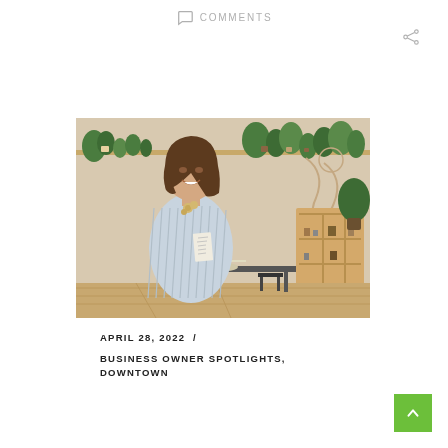COMMENTS
[Figure (photo): A smiling woman standing inside a boutique or cafe with plants on shelves, wooden display units with small items, and natural wood decor in the background.]
APRIL 28, 2022  /
BUSINESS OWNER SPOTLIGHTS, DOWNTOWN